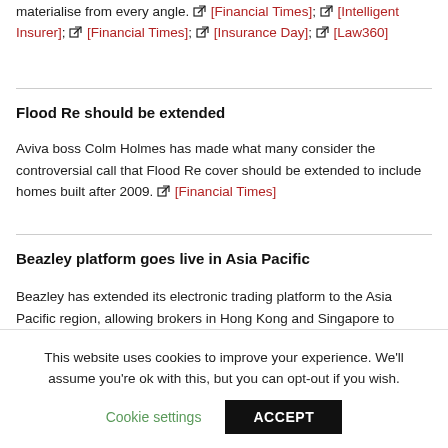materialise from every angle. [Financial Times]; [Intelligent Insurer]; [Financial Times]; [Insurance Day]; [Law360]
Flood Re should be extended
Aviva boss Colm Holmes has made what many consider the controversial call that Flood Re cover should be extended to include homes built after 2009. [Financial Times]
Beazley platform goes live in Asia Pacific
Beazley has extended its electronic trading platform to the Asia Pacific region, allowing brokers in Hong Kong and Singapore to
This website uses cookies to improve your experience. We'll assume you're ok with this, but you can opt-out if you wish.